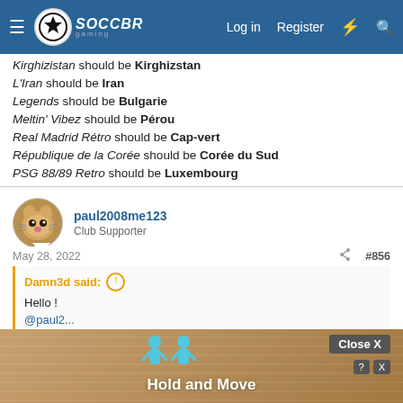SoccerGaming — Log in | Register
Kirghizistan should be Kirghizstan
L'Iran should be Iran
Legends should be Bulgarie
Meltin' Vibez should be Pérou
Real Madrid Rétro should be Cap-vert
République de la Corée should be Corée du Sud
PSG 88/89 Retro should be Luxembourg
paul2008me123 — Club Supporter
May 28, 2022  #856
Damn3d said: Hello ! @paul2... There a... file. I give t... le, I
[Figure (screenshot): Ad overlay showing 'Hold and Move' with animated figures, Close X button, and help icon]